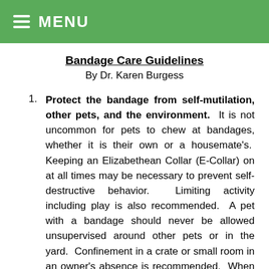≡ MENU
Bandage Care Guidelines
By Dr. Karen Burgess
Protect the bandage from self-mutilation, other pets, and the environment. It is not uncommon for pets to chew at bandages, whether it is their own or a housemate's. Keeping an Elizabethean Collar (E-Collar) on at all times may be necessary to prevent self-destructive behavior. Limiting activity including play is also recommended. A pet with a bandage should never be allowed unsupervised around other pets or in the yard. Confinement in a crate or small room in an owner's absence is recommended. When going outside the